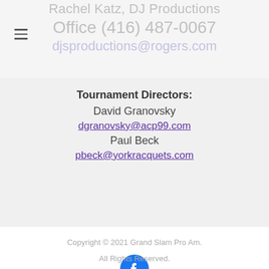Rachel Katz, DJ Productions
Office (416) 487-0067
djsproductions@rogers.com
Tournament Directors:
David Granovsky
dgranovsky@acp99.com
Paul Beck
pbeck@yorkracquets.com
Copyright © 2021 Grand Slam Pro Am.
[Figure (logo): Facebook logo icon — blue circle with white 'f' letter]
All Rights Reserved.